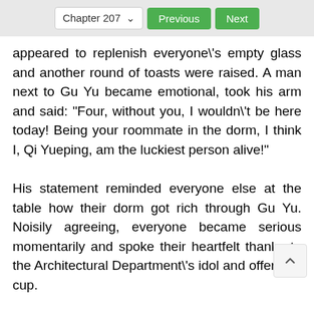Chapter 207  Previous  Next
appeared to replenish everyone\'s empty glass and another round of toasts were raised. A man next to Gu Yu became emotional, took his arm and said: "Four, without you, I wouldn\'t be here today! Being your roommate in the dorm, I think I, Qi Yueping, am the luckiest person alive!"
His statement reminded everyone else at the table how their dorm got rich through Gu Yu. Noisily agreeing, everyone became serious momentarily and spoke their heartfelt thanks to the Architectural Department\'s idol and offered a cup.
After everyone\'s\' round of toasts, Gu Yu had the opportunity to say: “Don’t thank me. Thank you for ...